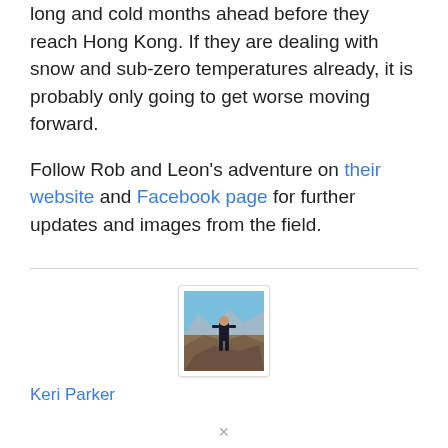long and cold months ahead before they reach Hong Kong. If they are dealing with snow and sub-zero temperatures already, it is probably only going to get worse moving forward.

Follow Rob and Leon's adventure on their website and Facebook page for further updates and images from the field.
[Figure (photo): Author profile photo: a person standing on rocky terrain with a mountain landscape and blue sky in the background.]
Keri Parker